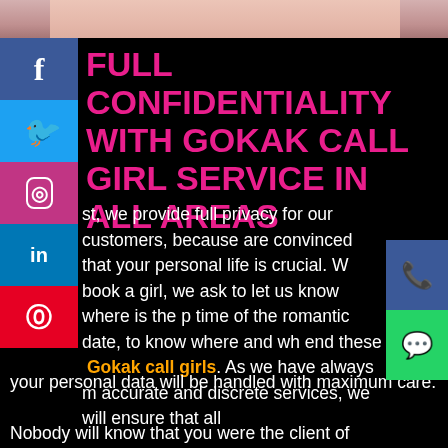[Figure (photo): Partial photo of a person at the top of the page, cropped, with a red border at the bottom.]
FULL CONFIDENTIALITY WITH GOKAK CALL GIRL SERVICE IN ALL AREAS
...st, we provide full privacy for our customers, because ...are convinced that your personal life is crucial. W... ...book a girl, we ask to let us know where is the p... ...time of the romantic date, to know where and wh... ...end these  Gokak call girls. As we have always m... ...accurate and discrete services, we will ensure that all your personal data will be handled with maximum care. Nobody will know that you were the client of meetvipgirls ladies because we delete your personal information as soon as the girl returned to our office. In ...